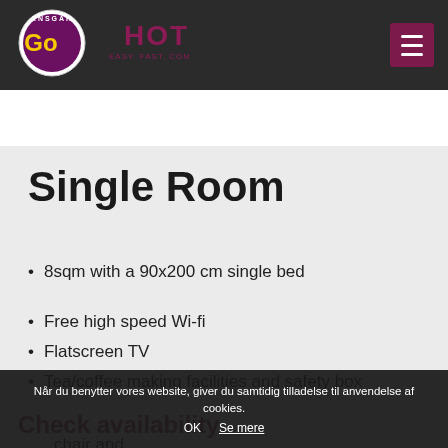[Figure (logo): Ansgar Go Hotel logo — circular badge with 'Go' text and hotel name in pink/maroon on dark header]
Single Room
8sqm with a 90x200 cm single bed
Free high speed Wi-fi
Flatscreen TV
Tea/coffee making facilities and safety box
Check availability
chair and
Når du benytter vores website, giver du samtidig tilladelse til anvendelse af cookies.
OK   Se mere